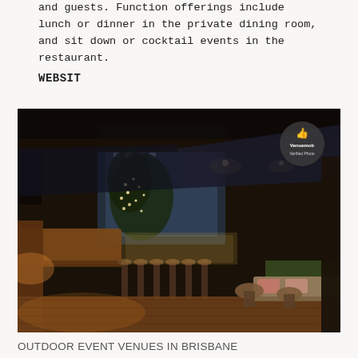and guests. Function offerings include lunch or dinner in the private dining room, and sit down or cocktail events in the restaurant.
WEBSIT
[Figure (photo): Outdoor bar and event space at night showing bar stools, wooden countertop, low tables, cushioned bench seating, fairy lights on trees, and a covered pergola-style roof. A Venuemob Verified Photo badge appears in the top right corner.]
OUTDOOR EVENT VENUES IN BRISBANE
Gerard's Bar Functions & Events